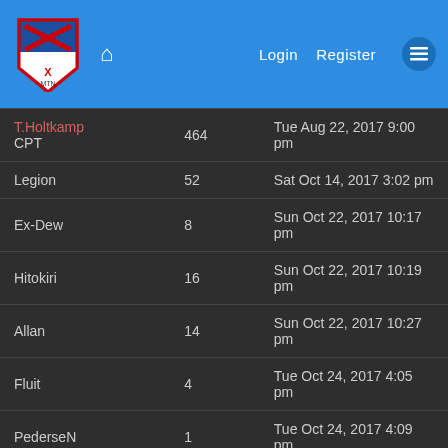Login  Register
| Name | Posts | Date |
| --- | --- | --- |
| T.Holtkamp CPT | 464 | Tue Aug 22, 2017 9:00 pm |
| Legion | 52 | Sat Oct 14, 2017 3:02 pm |
| Ex-Dew | 8 | Sun Oct 22, 2017 10:17 pm |
| Hitokiri | 16 | Sun Oct 22, 2017 10:19 pm |
| Allan | 14 | Sun Oct 22, 2017 10:27 pm |
| Fluit | 4 | Tue Oct 24, 2017 4:05 pm |
| PederseN | 1 | Tue Oct 24, 2017 4:09 pm |